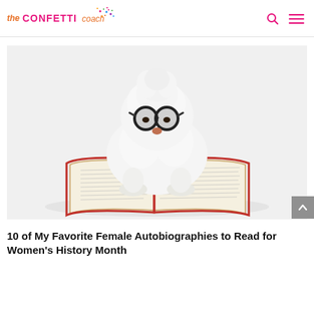the CONFETTI coach
[Figure (photo): A small fluffy white dog wearing round black glasses, sitting behind an open book with a red cover on a white background.]
10 of My Favorite Female Autobiographies to Read for Women's History Month